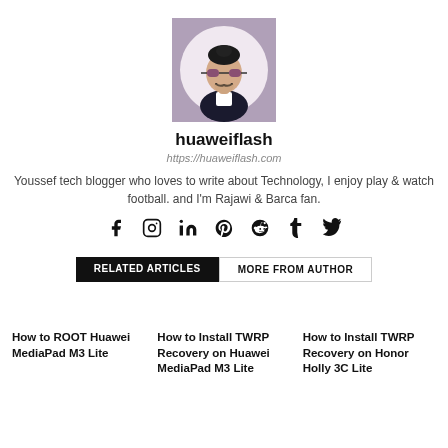[Figure (illustration): Avatar illustration of a man with sunglasses, beard, dark hair bun, wearing a dark jacket and white shirt, on a circular light pink/lavender background, inside a square frame with grayish-purple fill.]
huaweiflash
https://huaweiflash.com
Youssef tech blogger who loves to write about Technology, I enjoy play & watch football. and I'm Rajawi & Barca fan.
[Figure (other): Social media icons row: Facebook, Instagram, LinkedIn, Pinterest, Reddit, Tumblr, Twitter]
RELATED ARTICLES   MORE FROM AUTHOR
How to ROOT Huawei MediaPad M3 Lite
How to Install TWRP Recovery on Huawei MediaPad M3 Lite
How to Install TWRP Recovery on Honor Holly 3C Lite